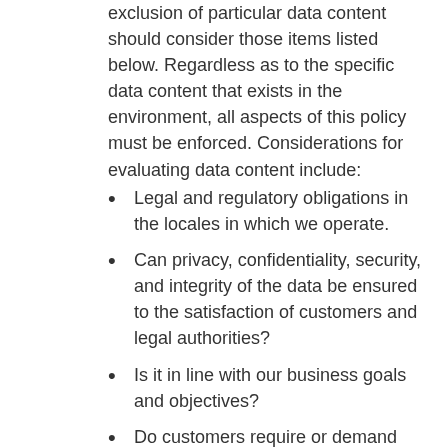exclusion of particular data content should consider those items listed below. Regardless as to the specific data content that exists in the environment, all aspects of this policy must be enforced. Considerations for evaluating data content include:
Legal and regulatory obligations in the locales in which we operate.
Can privacy, confidentiality, security, and integrity of the data be ensured to the satisfaction of customers and legal authorities?
Is it in line with our business goals and objectives?
Do customers require or demand access to specific data content.
What is common local practice?
What rules govern the movement across